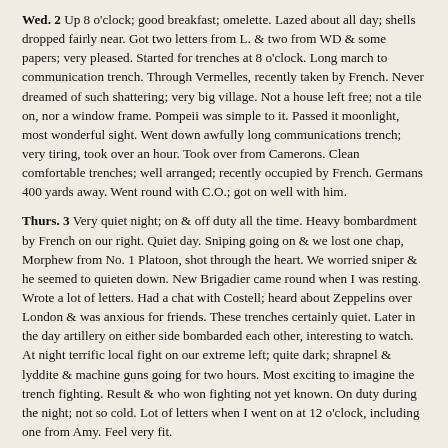Wed. 2 Up 8 o'clock; good breakfast; omelette. Lazed about all day; shells dropped fairly near. Got two letters from L. & two from WD & some papers; very pleased. Started for trenches at 8 o'clock. Long march to communication trench. Through Vermelles, recently taken by French. Never dreamed of such shattering; very big village. Not a house left free; not a tile on, nor a window frame. Pompeii was simple to it. Passed it moonlight, most wonderful sight. Went down awfully long communications trench; very tiring, took over an hour. Took over from Camerons. Clean comfortable trenches; well arranged; recently occupied by French. Germans 400 yards away. Went round with C.O.; got on well with him.
Thurs. 3 Very quiet night; on & off duty all the time. Heavy bombardment by French on our right. Quiet day. Sniping going on & we lost one chap, Morphew from No. 1 Platoon, shot through the heart. We worried sniper & he seemed to quieten down. New Brigadier came round when I was resting. Wrote a lot of letters. Had a chat with Costell; heard about Zeppelins over London & was anxious for friends. These trenches certainly quiet. Later in the day artillery on either side bombarded each other, interesting to watch. At night terrific local fight on our extreme left; quite dark; shrapnel & lyddite & machine guns going for two hours. Most exciting to imagine the trench fighting. Result & who won fighting not yet known. On duty during the night; not so cold. Lot of letters when I went on at 12 o'clock, including one from Amy. Feel very fit.
Fri. 4 On and off all night; very quiet. Fierce fight on our own left don't know result. Breakfast & comforting shave & wash. Wrote and read all day except for duty turn. Shelled a bit; pip squeaks; nothing much. Aeroplanes fairly busy. Snipers on both sides at it all day. Roof of our own dug-out fell in with weight of sand-bags. Dug-out in fire trench shelled; nobody in it. Long jaw with Thomasset